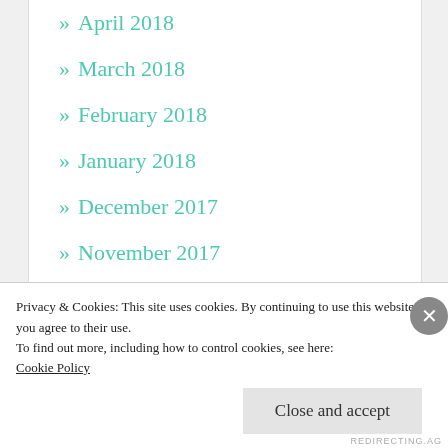» April 2018
» March 2018
» February 2018
» January 2018
» December 2017
» November 2017
» October 2017
» September 2017
» August 2017
» July 2017
» June 2017
Privacy & Cookies: This site uses cookies. By continuing to use this website, you agree to their use.
To find out more, including how to control cookies, see here: Cookie Policy
Close and accept